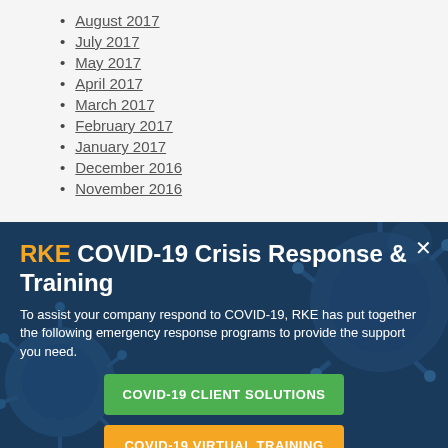August 2017
July 2017
May 2017
April 2017
March 2017
February 2017
January 2017
December 2016
November 2016
RKE COVID-19 Crisis Response & Training
To assist your company respond to COVID-19, RKE has put together the following emergency response programs to provide the support you need.
COVID-19 CLIENT SOLUTIONS
COVID-19 VIRTUAL TRAINING